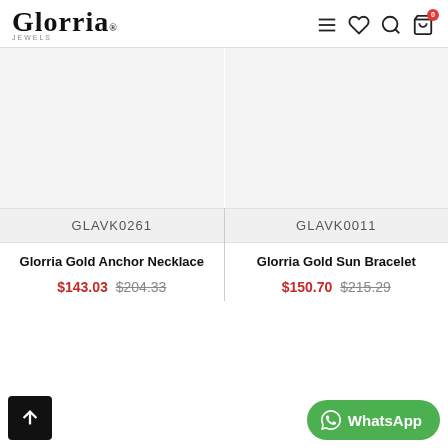Glorria
[Figure (screenshot): Product listing page for Glorria jewelry e-commerce site showing two product cards: Glorria Gold Anchor Necklace (SKU: GLAVK0261, $143.03 sale / $204.33 original) and Glorria Gold Sun Bracelet (SKU: GLAVK0011, $150.70 sale / $215.29 original)]
GLAVK0261
Glorria Gold Anchor Necklace
$143.03  $204.33
GLAVK0011
Glorria Gold Sun Bracelet
$150.70  $215.29